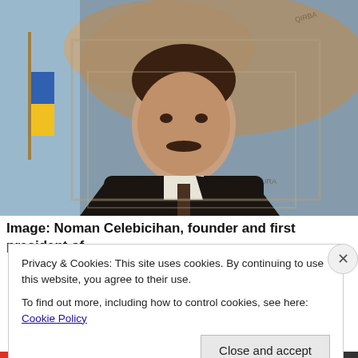[Figure (photo): Painted portrait of Noman Celebicihan, a man with a dark mustache wearing a dark suit and tie, standing in front of a map with text labels including KARA and a Ukrainian flag visible on the left side.]
Image: Noman Celebicihan, founder and first president of
Privacy & Cookies: This site uses cookies. By continuing to use this website, you agree to their use.
To find out more, including how to control cookies, see here: Cookie Policy
Close and accept